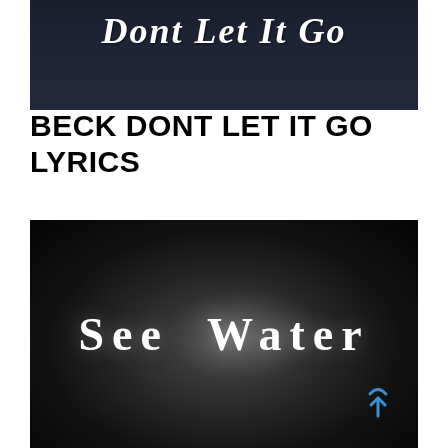[Figure (screenshot): Dark navy/dark background image with white italic bold serif text reading 'Dont Let It Go' partially visible at the top]
BECK DONT LET IT GO LYRICS
[Figure (screenshot): Dark black background with radial glow, white serif bold text reading 'See Water' in large letters, with a blue scroll-to-top icon in the bottom right corner]